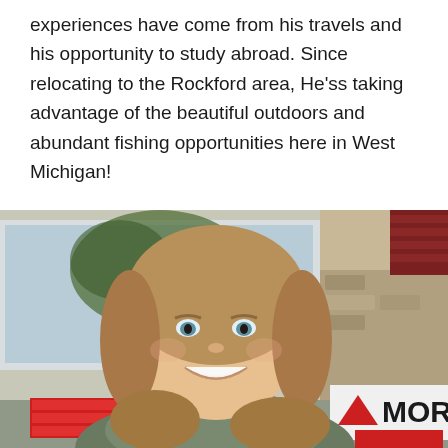experiences have come from his travels and his opportunity to study abroad. Since relocating to the Rockford area, He'ss taking advantage of the beautiful outdoors and abundant fishing opportunities here in West Michigan!
[Figure (photo): A smiling young woman with long brown hair standing outside in front of a building with a window and a stone facade. A partial red and white sign and a sign reading 'MOR' with a triangle logo are visible in the background.]